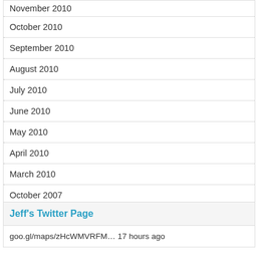November 2010
October 2010
September 2010
August 2010
July 2010
June 2010
May 2010
April 2010
March 2010
October 2007
Jeff's Twitter Page
goo.gl/maps/zHcWMVRFM… 17 hours ago